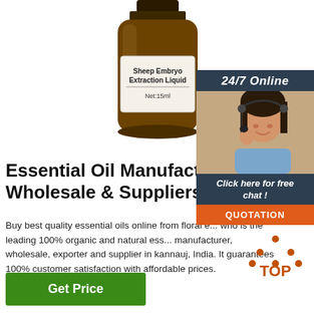[Figure (photo): Amber glass bottle labeled 'Sheep Embryo Extraction Liquid Net:15ml']
[Figure (photo): 24/7 Online customer service agent with headset, dark background panel with 'Click here for free chat!' text and orange QUOTATION button]
Essential Oil Manufacturers Wholesale & Suppliers - 100%
Buy best quality essential oils online from floral e... who is the leading 100% organic and natural ess... manufacturer, wholesale, exporter and supplier in kannauj, India. It guarantees 100% customer satisfaction with affordable prices.
[Figure (logo): TOP badge with orange dots above 'TOP' text in orange]
Get Price